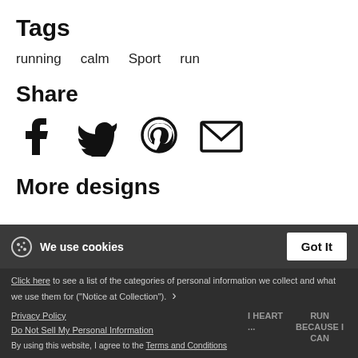Tags
running   calm   Sport   run
Share
[Figure (infographic): Social share icons: Facebook, Twitter, Pinterest, Email]
More designs
We use cookies
Got It
Click here to see a list of the categories of personal information we collect and what we use them for ("Notice at Collection"). ›
Privacy Policy
Do Not Sell My Personal Information
By using this website, I agree to the Terms and Conditions
I HEART...
RUN BECAUSE I CAN